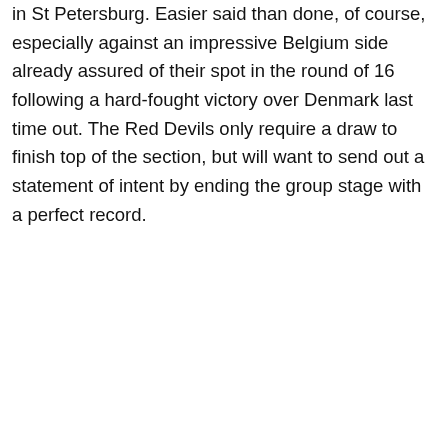in St Petersburg. Easier said than done, of course, especially against an impressive Belgium side already assured of their spot in the round of 16 following a hard-fought victory over Denmark last time out. The Red Devils only require a draw to finish top of the section, but will want to send out a statement of intent by ending the group stage with a perfect record.
...